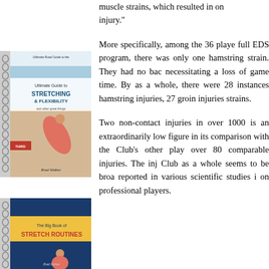[Figure (illustration): Book cover of 'Ultimate Guide to Stretching & Flexibility' by Brad Walker, Third Edition, showing a woman stretching on a beach, spiral bound]
muscle strains, which resulted in on injury."
More specifically, among the 36 players on the full EDS program, there was only one hamstring strain. They had no back injuries necessitating a loss of game time. By the Club as a whole, there were 28 instances of hamstring injuries, 27 groin injuries, and strains.
Two non-contact injuries in over 1000 is an extraordinarily low figure in its comparison with the Club's other players over 80 comparable injuries. The injury Club as a whole seems to be broadly reported in various scientific studies in on professional players.
[Figure (illustration): Book cover of 'The Big Book of Stretch Routines', spiral bound, partially visible]